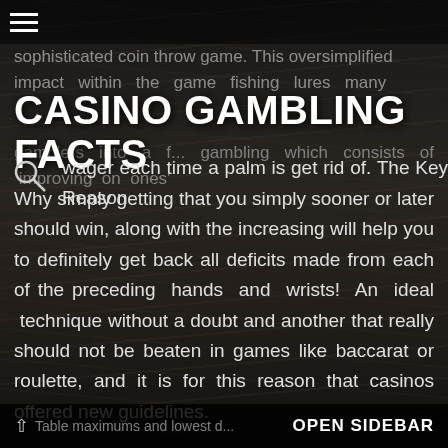CASINO GAMBLING FACTS
sophisticated coin throw game. This oversimplified impact within the game fishing lures many gamblers into a f... gambling which consists of improving on ones' wager each time a palm is get rid of. The Key Reason Why simply getting that you simply sooner or later should win, along with the increasing will help you to definitely get back all deficits made from each of the preceding hands and wrists! An ideal technique without a doubt and another that really should not be beaten in games like baccarat or roulette, and it is for this reason that casinos offered new guidelines.
The newest guidelines limitation simply how much a player can guess in 1 hand?
Casinos properly entirely got rid of the chance in the Martingale Method 🎰🎰🎰🎰🎰🎰🎰 or player by establishing
Table maximums and lowest d... OPEN SIDEBAR